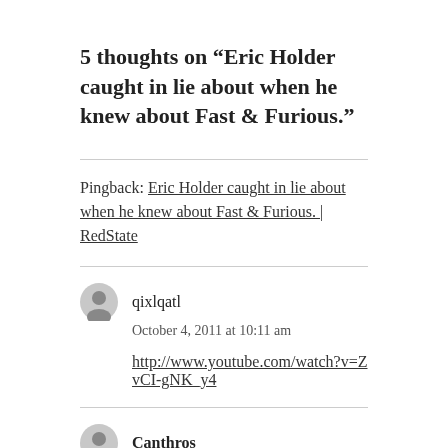5 thoughts on “Eric Holder caught in lie about when he knew about Fast & Furious.”
Pingback: Eric Holder caught in lie about when he knew about Fast & Furious. | RedState
qixlqatl
October 4, 2011 at 10:11 am
http://www.youtube.com/watch?v=ZvCI-gNK_y4
Canthros
October 4, 2011 at 11:17 am